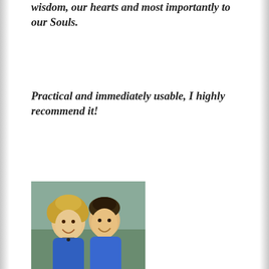wisdom, our hearts and most importantly to our Souls.
Practical and immediately usable, I highly recommend it!
[Figure (photo): Photo of Donna Eden and David Feinstein, a smiling woman with curly blonde hair and a smiling man, both wearing blue.]
Donna Eden and David Feinstein, Authors, Energy Medicine
Food is energy. When you absolutely love what you are